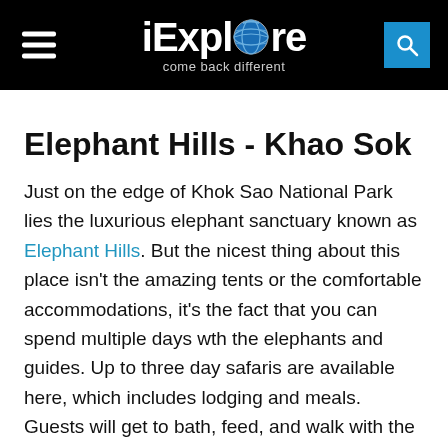iExplore — come back different
Elephant Hills - Khao Sok
Just on the edge of Khok Sao National Park lies the luxurious elephant sanctuary known as Elephant Hills. But the nicest thing about this place isn't the amazing tents or the comfortable accommodations, it's the fact that you can spend multiple days wth the elephants and guides. Up to three day safaris are available here, which includes lodging and meals. Guests will get to bath, feed, and walk with the gentle giants as you travel across the jungle landscape that is their native home. Elephant Hills currently hosts 12 Asian elephants that were once